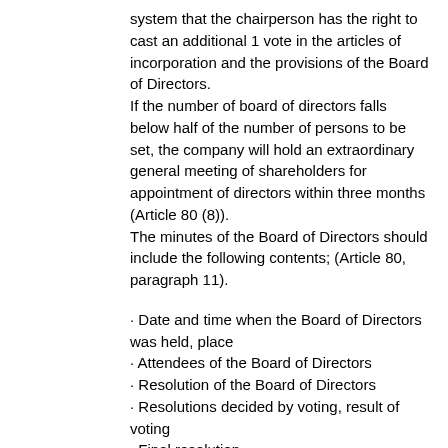system that the chairperson has the right to cast an additional 1 vote in the articles of incorporation and the provisions of the Board of Directors.
If the number of board of directors falls below half of the number of persons to be set, the company will hold an extraordinary general meeting of shareholders for appointment of directors within three months (Article 80 (8)).
The minutes of the Board of Directors should include the following contents; (Article 80, paragraph 11).
· Date and time when the Board of Directors was held, place
· Attendees of the Board of Directors
· Resolution of the Board of Directors
· Resolutions decided by voting, result of voting
· Final resolution
Committee